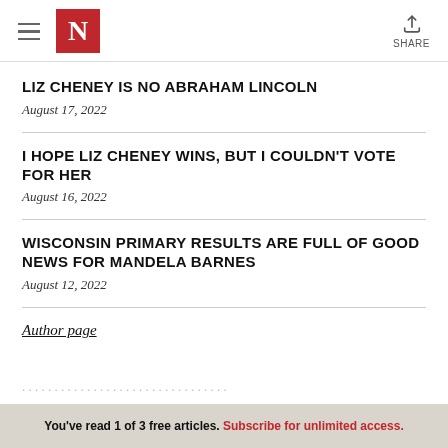N (Newsweek logo) | SHARE
LIZ CHENEY IS NO ABRAHAM LINCOLN
August 17, 2022
I HOPE LIZ CHENEY WINS, BUT I COULDN'T VOTE FOR HER
August 16, 2022
WISCONSIN PRIMARY RESULTS ARE FULL OF GOOD NEWS FOR MANDELA BARNES
August 12, 2022
Author page
You've read 1 of 3 free articles. Subscribe for unlimited access.